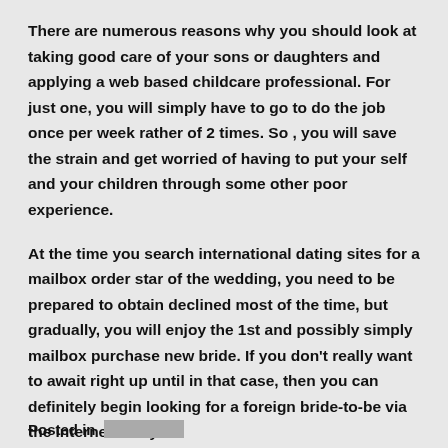There are numerous reasons why you should look at taking good care of your sons or daughters and applying a web based childcare professional. For just one, you will simply have to go to do the job once per week rather of 2 times. So , you will save the strain and get worried of having to put your self and your children through some other poor experience.
At the time you search international dating sites for a mailbox order star of the wedding, you need to be prepared to obtain declined most of the time, but gradually, you will enjoy the 1st and possibly simply mailbox purchase new bride. If you don't really want to await right up until in that case, then you can definitely begin looking for a foreign bride-to-be via the internet today.
Posted in